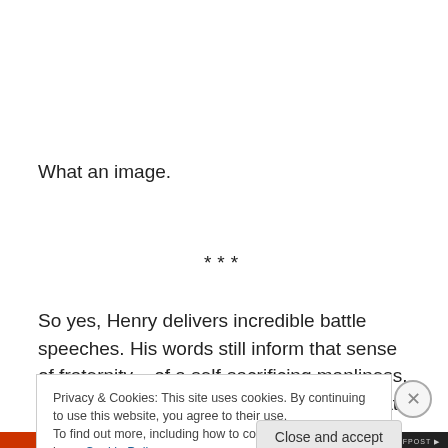What an image.
***
So yes, Henry delivers incredible battle speeches. His words still inform that sense of fraternity – of a self-sacrificing manliness, of a larger-than-oneself camaraderie – that many modern soldiers (and other tight-knit teams) still experience. It still imbues concepts of patriotism,
Privacy & Cookies: This site uses cookies. By continuing to use this website, you agree to their use.
To find out more, including how to control cookies, see here: Cookie Policy
Close and accept